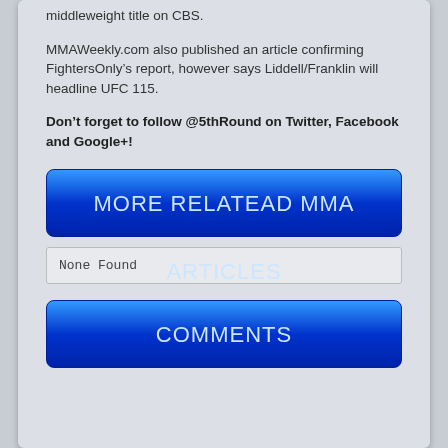middleweight title on CBS.
MMAWeekly.com also published an article confirming FightersOnly’s report, however says Liddell/Franklin will headline UFC 115.
Don’t forget to follow @5thRound on Twitter, Facebook and Google+!
[Figure (other): Blue gradient button with white text: MORE RELATEAD MMA ARTICLES]
None Found
[Figure (other): Blue gradient button with white text: COMMENTS]